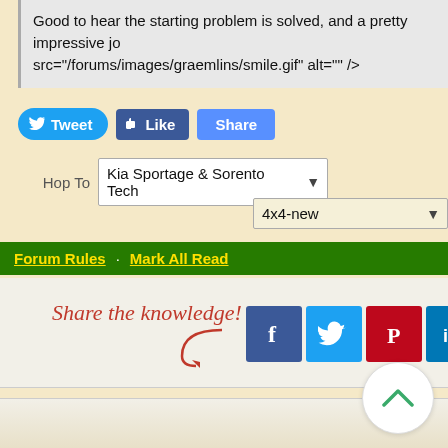Good to hear the starting problem is solved, and a pretty impressive jo src="/forums/images/graemlins/smile.gif" alt="" />
[Figure (screenshot): Social sharing buttons: Tweet (Twitter/blue), Like (Facebook/blue), Share (blue)]
Hop To  Kia Sportage & Sorento Tech
[Figure (screenshot): Dropdown selector showing '4x4-new']
Forum Rules · Mark All Read
[Figure (infographic): Share the knowledge! section with social media icons: Facebook, Twitter, Pinterest, LinkedIn, Email]
[Figure (other): Back to top chevron button (circular, white)]